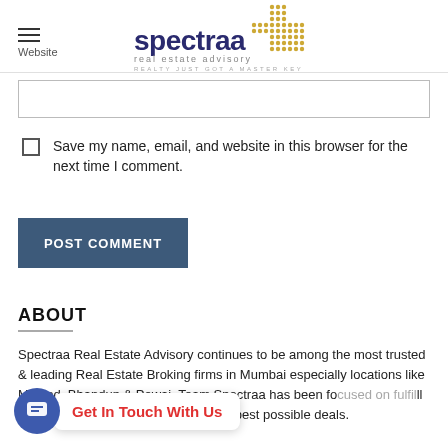[Figure (logo): Spectraa Real Estate Advisory logo with dotted cross symbol and text 'realty just got a master key']
Website
Save my name, email, and website in this browser for the next time I comment.
POST COMMENT
ABOUT
Spectraa Real Estate Advisory continues to be among the most trusted & leading Real Estate Broking firms in Mumbai especially locations like Mulund, Bhandup & Powai. Team Spectraa has been fo... ll your requirement & in ge...e best possible deals.
Get In Touch With Us